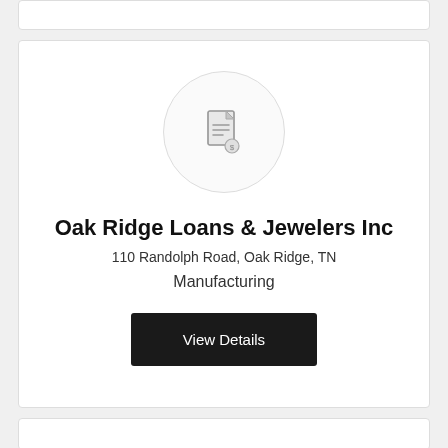[Figure (logo): Circular logo placeholder with a document/receipt icon in the center]
Oak Ridge Loans & Jewelers Inc
110 Randolph Road, Oak Ridge, TN
Manufacturing
View Details